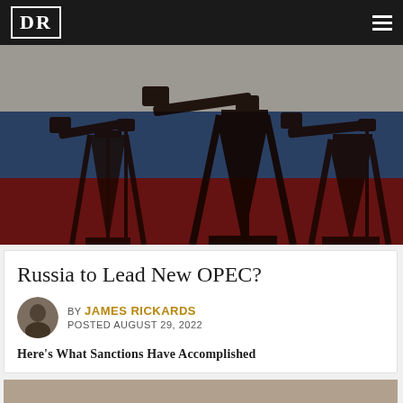DR
[Figure (photo): Russian flag with oil pump jack silhouettes overlaid, stylized dark composite image with white, blue and red horizontal stripes]
Russia to Lead New OPEC?
BY JAMES RICKARDS POSTED AUGUST 29, 2022
Here's What Sanctions Have Accomplished
[Figure (photo): Partial view of another article image at bottom of page]